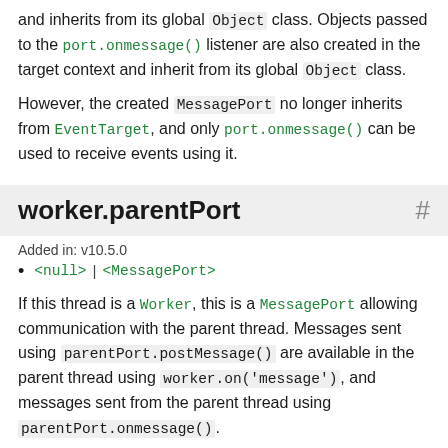and inherits from its global Object class. Objects passed to the port.onmessage() listener are also created in the target context and inherit from its global Object class.
However, the created MessagePort no longer inherits from EventTarget, and only port.onmessage() can be used to receive events using it.
worker.parentPort
Added in: v10.5.0
<null> | <MessagePort>
If this thread is a Worker, this is a MessagePort allowing communication with the parent thread. Messages sent using parentPort.postMessage() are available in the parent thread using worker.on('message'), and messages sent from the parent thread using parentPort.onmessage().